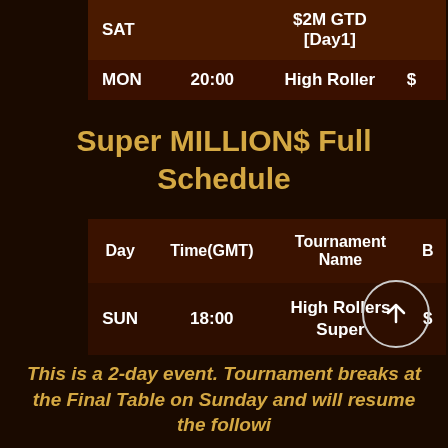| Day | Time(GMT) | Tournament Name | B |
| --- | --- | --- | --- |
| SAT |  | $2M GTD [Day1] |  |
| MON | 20:00 | High Roller | $ |
Super MILLION$ Full Schedule
| Day | Time(GMT) | Tournament Name | B |
| --- | --- | --- | --- |
| SUN | 18:00 | High Rollers Super | $ |
This is a 2-day event. Tournament breaks at the Final Table on Sunday and will resume the following